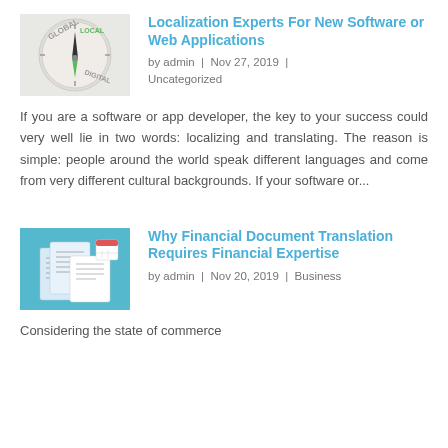[Figure (photo): Compass with words GLOBAL, LOCAL, DIGITAL around it]
Localization Experts For New Software or Web Applications
by admin | Nov 27, 2019 | Uncategorized
If you are a software or app developer, the key to your success could very well lie in two words: localizing and translating. The reason is simple: people around the world speak different languages and come from very different cultural backgrounds. If your software or...
[Figure (illustration): Isometric illustration of financial documents on teal/blue background]
Why Financial Document Translation Requires Financial Expertise
by admin | Nov 20, 2019 | Business
Considering the state of commerce